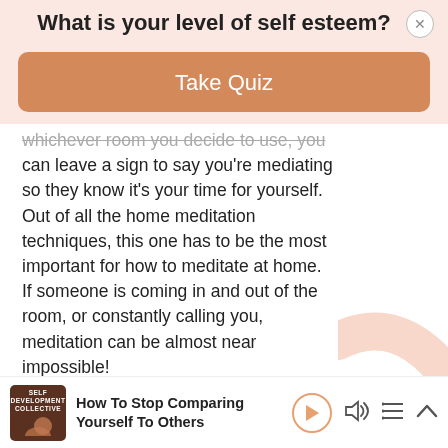What is your level of self esteem?
[Figure (other): Take Quiz button - orange/tan rounded rectangle with white text]
whichever room you decide to use, you can leave a sign to say you're mediating so they know it's your time for yourself. Out of all the home meditation techniques, this one has to be the most important for how to meditate at home. If someone is coming in and out of the room, or constantly calling you, meditation can be almost near impossible!
[Figure (other): Podcast player bar at bottom: thumbnail with 'SELF DEVELOPMENT COLLECTIVE' label, title 'How To Stop Comparing Yourself To Others', play/volume/list/chevron controls]